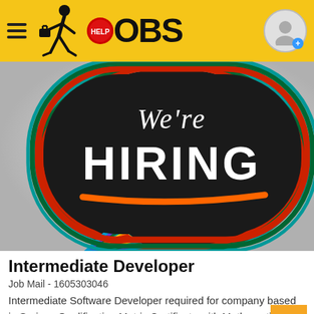HELP JOBS
[Figure (illustration): Colorful 'We're HIRING' speech bubble sign on light background, with multi-colored tail stripes (red, orange, yellow, green, blue, purple)]
Intermediate Developer
Job Mail - 1605303046
Intermediate Software Developer required for company based in Springs Qualification Matric Certificate with Mathematics (Math Literacy is not sufficient) Relevant Degre...